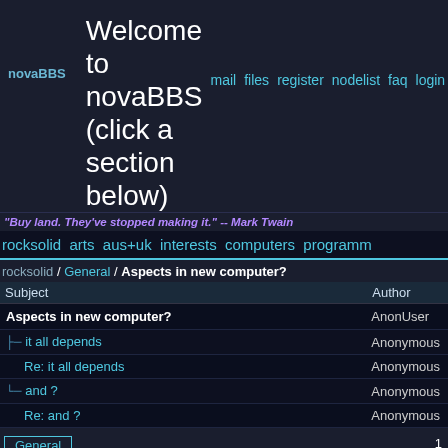novaBBS | Welcome to novaBBS (click a section below) | mail files register nodelist faq login
"Buy land. They've stopped making it." -- Mark Twain
rocksolid arts aus+uk interests computers programm
rocksolid / General / Aspects in new computer?
| Subject | Author |
| --- | --- |
| Aspects in new computer? | AnonUser |
| it all depends | Anonymous |
| Re: it all depends | Anonymous |
| and ? | Anonymous |
| Re: and ? | Anonymous |
General	1
Subject: Aspects in new computer?
From: AnonUser